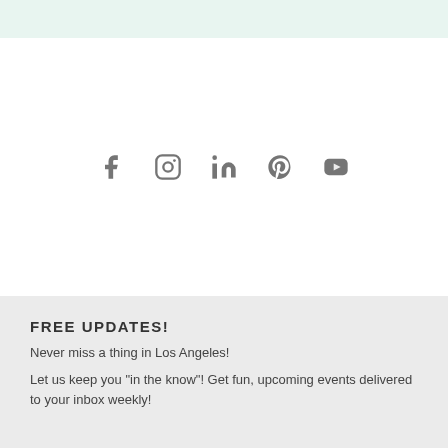[Figure (infographic): Row of five social media icons: Facebook, Instagram, LinkedIn, Pinterest, YouTube — all in grey]
FREE UPDATES!
Never miss a thing in Los Angeles!
Let us keep you "in the know"! Get fun, upcoming events delivered to your inbox weekly!